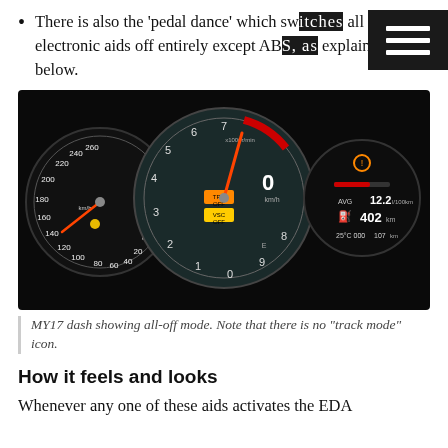There is also the 'pedal dance' which switches all electronic aids off entirely except ABS, as explained below.
[Figure (photo): Car dashboard showing three gauges: speedometer on left (0-260 km/h), tachometer in center (0-9 x1000r/min with TRC OFF and VSC OFF warning lights), and a digital display panel on right showing 0 km/h, AVG 12.2, 402 km, 25°C 000, 107 km. The dash is in all-off mode with a dark background and illuminated warning lights.]
MY17 dash showing all-off mode. Note that there is no "track mode" icon.
How it feels and looks
Whenever any one of these aids activates the EDA